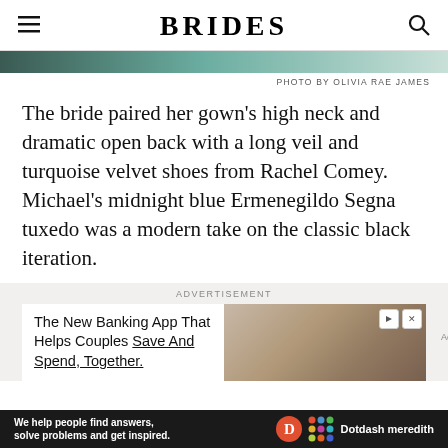BRIDES
[Figure (photo): Partial cropped photo strip of what appears to be a couple, teal/green tones]
PHOTO BY OLIVIA RAE JAMES
The bride paired her gown's high neck and dramatic open back with a long veil and turquoise velvet shoes from Rachel Comey. Michael’s midnight blue Ermenegildo Segna tuxedo was a modern take on the classic black iteration.
[Figure (other): Advertisement: The New Banking App That Helps Couples Save And Spend, Together. Shows a couple looking at a phone.]
[Figure (other): Bottom bar advertisement: We help people find answers, solve problems and get inspired. Dotdash Meredith logo.]